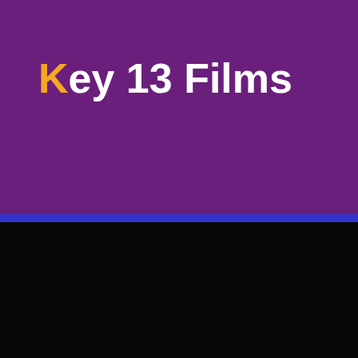[Figure (logo): Key 13 Films logo on purple background with blue stripe and black lower section. The letter K is in gold/yellow, followed by 'ey 13 Films' in white bold text.]